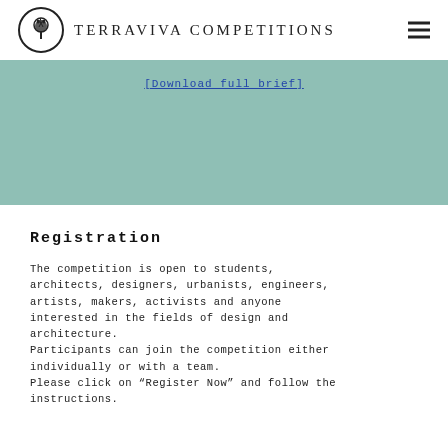TerraViva Competitions
[Download full brief]
Registration
The competition is open to students, architects, designers, urbanists, engineers, artists, makers, activists and anyone interested in the fields of design and architecture.
Participants can join the competition either individually or with a team.
Please click on “Register Now” and follow the instructions.